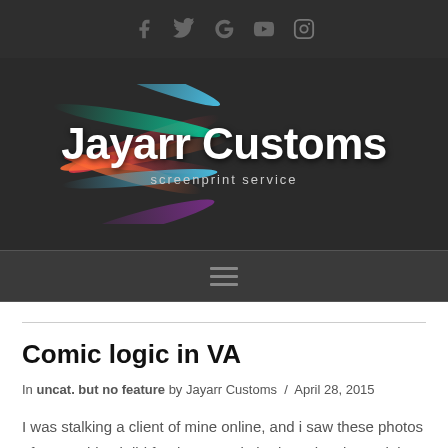Social media icons: Facebook, Twitter, Google+, YouTube, Instagram
[Figure (logo): Jayarr Customs screenprint service logo with colorful rainbow ray streaks on dark background]
Navigation hamburger menu icon
Comic logic in VA
In uncat. but no feature by Jayarr Customs / April 28, 2015
I was stalking a client of mine online, and i saw these photos of some shirts i did for them. Kevin bednarz has been doing merchandise through me for a ...